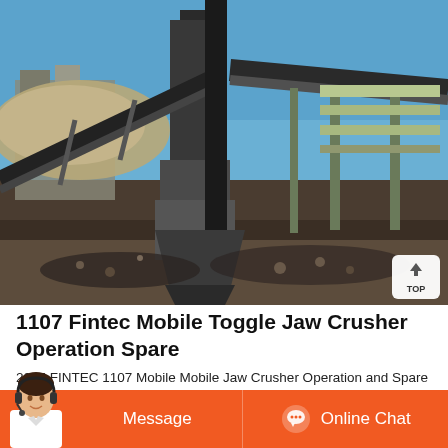[Figure (photo): Outdoor industrial site showing a mobile jaw crusher machine with conveyor belts, metal framework, and crushed rock/aggregate on the ground. Blue sky in background.]
1107 Fintec Mobile Toggle Jaw Crusher Operation Spare
2005 FINTEC 1107 Mobile Mobile Jaw Crusher Operation and Spare Parts Manual. Good. US Seller. This is a genuine combined Fintec operation and spare parts manual. - Model s covered 1107 1100x700mm Jaw Crusher. The pa...